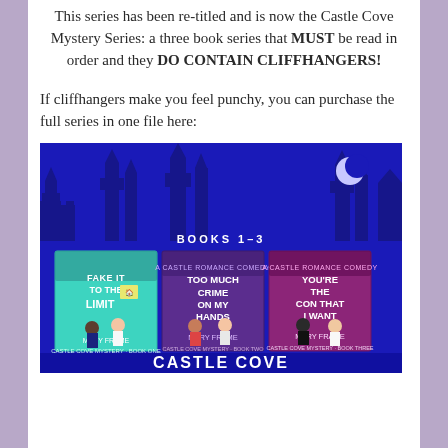This series has been re-titled and is now the Castle Cove Mystery Series: a three book series that MUST be read in order and they DO CONTAIN CLIFFHANGERS!
If cliffhangers make you feel punchy, you can purchase the full series in one file here:
[Figure (illustration): Book cover image for the Castle Cove Mystery Series Books 1-3, showing three book covers (Fake It to the Limit, Too Much Crime on My Hands, You're the Con That I Want) against a dark blue background with castle silhouettes and a crescent moon, with 'CASTLE COVE MYSTERY SERIES' text at the bottom.]